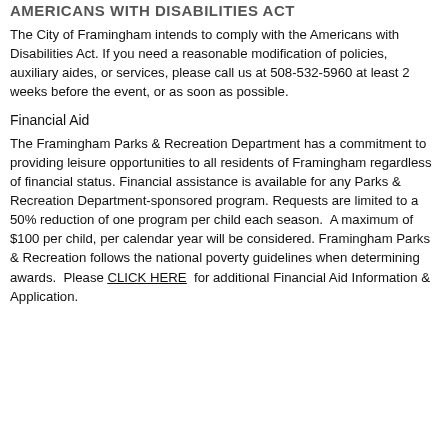AMERICANS WITH DISABILITIES ACT
The City of Framingham intends to comply with the Americans with Disabilities Act. If you need a reasonable modification of policies, auxiliary aides, or services, please call us at 508-532-5960 at least 2 weeks before the event, or as soon as possible.
Financial Aid
The Framingham Parks & Recreation Department has a commitment to providing leisure opportunities to all residents of Framingham regardless of financial status. Financial assistance is available for any Parks & Recreation Department-sponsored program. Requests are limited to a 50% reduction of one program per child each season.  A maximum of $100 per child, per calendar year will be considered. Framingham Parks & Recreation follows the national poverty guidelines when determining awards.  Please CLICK HERE  for additional Financial Aid Information & Application.